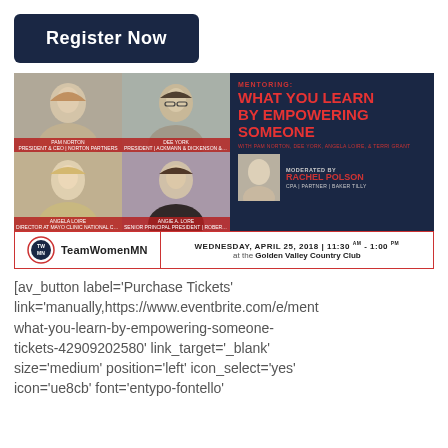Register Now
[Figure (infographic): TeamWomenMN event banner for 'Mentoring: What You Learn By Empowering Someone' with photos of four panelists and moderator Rachel Polson, event date Wednesday April 25 2018 11:30 AM - 1:00 PM at the Golden Valley Country Club]
[av_button label='Purchase Tickets' link='manually,https://www.eventbrite.com/e/ment what-you-learn-by-empowering-someone-tickets-42909202580' link_target='_blank' size='medium' position='left' icon_select='yes' icon='ue8cb' font='entypo-fontello'